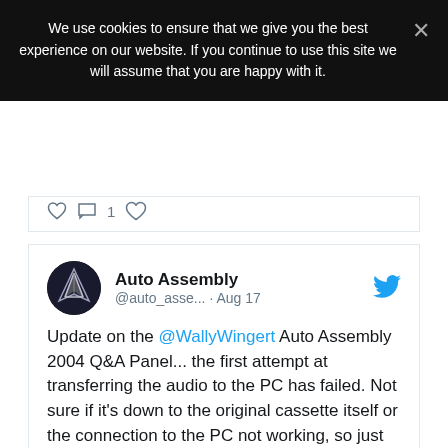We use cookies to ensure that we give you the best experience on our website. If you continue to use this site we will assume that you are happy with it.
Auto Assembly @auto_asse... · Aug 17
Update on the @WallyWingert Auto Assembly 2004 Q&A Panel... the first attempt at transferring the audio to the PC has failed. Not sure if it's down to the original cassette itself or the connection to the PC not working, so just trying to eliminate the problem...
Auto Assembly @auto_asse... · Aug 17